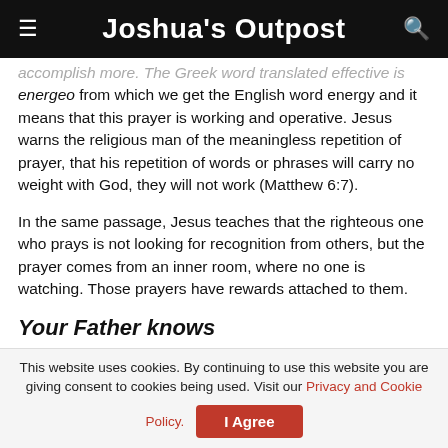Joshua's Outpost
accomplish more. The Greek word translated effective is energeo from which we get the English word energy and it means that this prayer is working and operative. Jesus warns the religious man of the meaningless repetition of prayer, that his repetition of words or phrases will carry no weight with God, they will not work (Matthew 6:7).
In the same passage, Jesus teaches that the righteous one who prays is not looking for recognition from others, but the prayer comes from an inner room, where no one is watching. Those prayers have rewards attached to them.
Your Father knows
This website uses cookies. By continuing to use this website you are giving consent to cookies being used. Visit our Privacy and Cookie Policy.